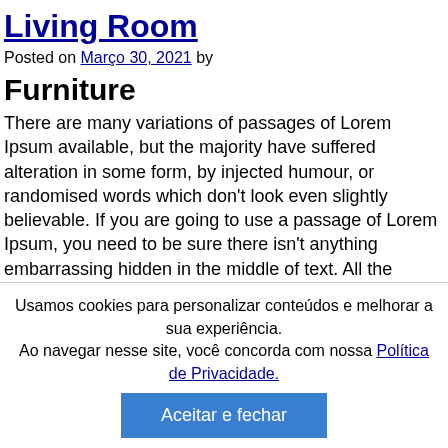Living Room
Posted on Março 30, 2021 by
Furniture
There are many variations of passages of Lorem Ipsum available, but the majority have suffered alteration in some form, by injected humour, or randomised words which don't look even slightly believable. If you are going to use a passage of Lorem Ipsum, you need to be sure there isn't anything embarrassing hidden in the middle of text. All the Lorem Ipsum generators on the Internet tend to repeat predefined chunks as necessary, making this the first true generator on the Internet. It uses a dictionary of over 200 Latin
Usamos cookies para personalizar conteúdos e melhorar a sua experiência.
Ao navegar nesse site, você concorda com nossa Política de Privacidade.
Aceitar e fechar